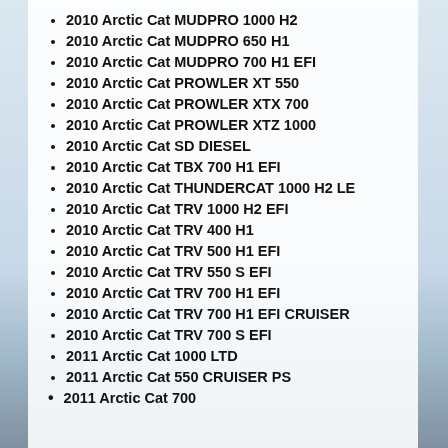2010 Arctic Cat MUDPRO 1000 H2
2010 Arctic Cat MUDPRO 650 H1
2010 Arctic Cat MUDPRO 700 H1 EFI
2010 Arctic Cat PROWLER XT 550
2010 Arctic Cat PROWLER XTX 700
2010 Arctic Cat PROWLER XTZ 1000
2010 Arctic Cat SD DIESEL
2010 Arctic Cat TBX 700 H1 EFI
2010 Arctic Cat THUNDERCAT 1000 H2 LE
2010 Arctic Cat TRV 1000 H2 EFI
2010 Arctic Cat TRV 400 H1
2010 Arctic Cat TRV 500 H1 EFI
2010 Arctic Cat TRV 550 S EFI
2010 Arctic Cat TRV 700 H1 EFI
2010 Arctic Cat TRV 700 H1 EFI CRUISER
2010 Arctic Cat TRV 700 S EFI
2011 Arctic Cat 1000 LTD
2011 Arctic Cat 550 CRUISER PS
2011 Arctic Cat 700